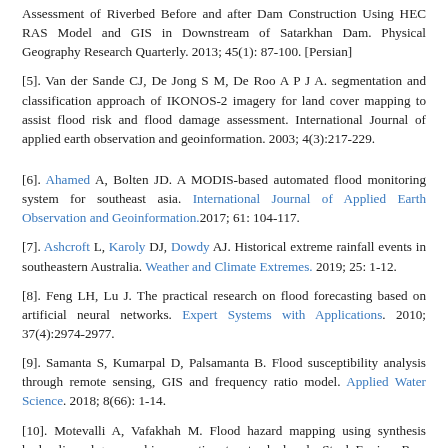Assessment of Riverbed Before and after Dam Construction Using HEC RAS Model and GIS in Downstream of Satarkhan Dam. Physical Geography Research Quarterly. 2013; 45(1): 87-100. [Persian]
[5]. Van der Sande CJ, De Jong S M, De Roo A P J A. segmentation and classification approach of IKONOS-2 imagery for land cover mapping to assist flood risk and flood damage assessment. International Journal of applied earth observation and geoinformation. 2003; 4(3):217-229.
[6]. Ahamed A, Bolten JD. A MODIS-based automated flood monitoring system for southeast asia. International Journal of Applied Earth Observation and Geoinformation.2017; 61: 104-117.
[7]. Ashcroft L, Karoly DJ, Dowdy AJ. Historical extreme rainfall events in southeastern Australia. Weather and Climate Extremes. 2019; 25: 1-12.
[8]. Feng LH, Lu J. The practical research on flood forecasting based on artificial neural networks. Expert Systems with Applications. 2010; 37(4):2974-2977.
[9]. Samanta S, Kumarpal D, Palsamanta B. Flood susceptibility analysis through remote sensing, GIS and frequency ratio model. Applied Water Science. 2018; 8(66): 1-14.
[10]. Motevalli A, Vafakhah M. Flood hazard mapping using synthesis hydraulic and geomorphic properties at watershed scale. Stoch Environ Res